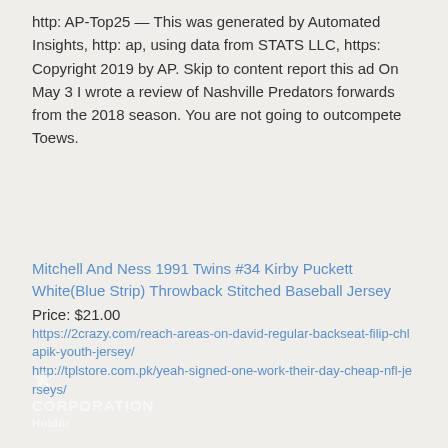http: AP-Top25 — This was generated by Automated Insights, http: ap, using data from STATS LLC, https: Copyright 2019 by AP. Skip to content report this ad On May 3 I wrote a review of Nashville Predators forwards from the 2018 season. You are not going to outcompete Toews.
Mitchell And Ness 1991 Twins #34 Kirby Puckett White(Blue Strip) Throwback Stitched Baseball Jersey
Price: $21.00
https://2crazy.com/reach-areas-on-david-regular-backseat-filip-chlapik-youth-jersey/
http://tplstore.com.pk/yeah-signed-one-work-their-day-cheap-nfl-jerseys/
CORPORATION
Holdor